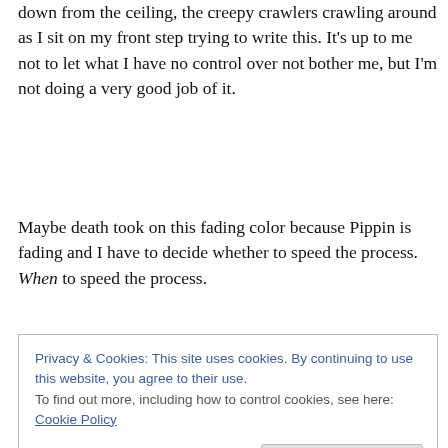down from the ceiling, the creepy crawlers crawling around as I sit on my front step trying to write this. It's up to me not to let what I have no control over not bother me, but I'm not doing a very good job of it.
Maybe death took on this fading color because Pippin is fading and I have to decide whether to speed the process. When to speed the process.
I took what's left of Pippin to the vet for his yearly checkup and shots. He can't see or hear. He has chronic ear infections which makes him rub his head on the rug.
Privacy & Cookies: This site uses cookies. By continuing to use this website, you agree to their use.
To find out more, including how to control cookies, see here: Cookie Policy
Close and accept
meds he's taking she didn't want to vaccinate. He's gained